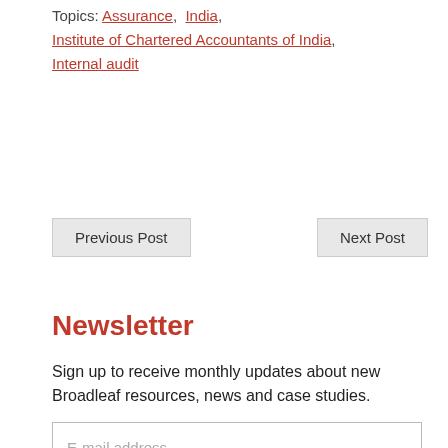Topics: Assurance, India, Institute of Chartered Accountants of India, Internal audit
Previous Post | Next Post
Newsletter
Sign up to receive monthly updates about new Broadleaf resources, news and case studies.
E-mail address
Sign up